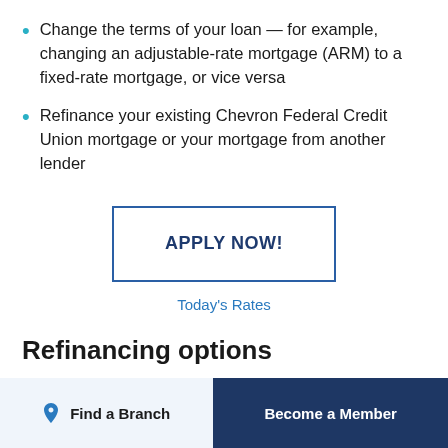Change the terms of your loan — for example, changing an adjustable-rate mortgage (ARM) to a fixed-rate mortgage, or vice versa
Refinance your existing Chevron Federal Credit Union mortgage or your mortgage from another lender
APPLY NOW!
Today's Rates
Refinancing options
Find a Branch
Become a Member